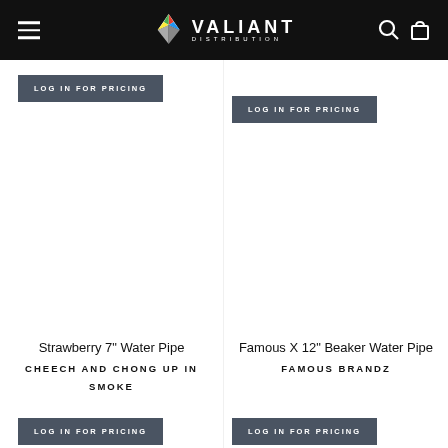Valiant Distribution
LOG IN FOR PRICING
LOG IN FOR PRICING
Strawberry 7" Water Pipe
CHEECH AND CHONG UP IN SMOKE
LOG IN FOR PRICING
Famous X 12" Beaker Water Pipe
FAMOUS BRANDZ
LOG IN FOR PRICING